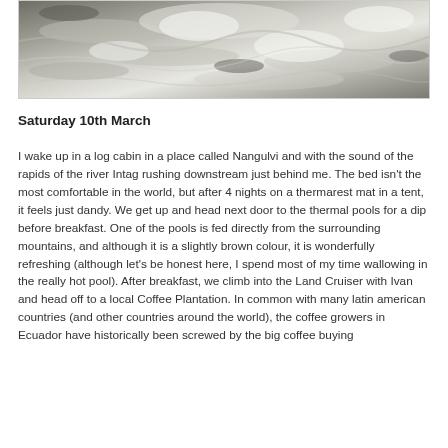[Figure (photo): Photo of rushing river rapids with white water and rocky elements, turbulent water flowing downstream.]
Saturday 10th March
I wake up in a log cabin in a place called Nangulvi and with the sound of the rapids of the river Intag rushing downstream just behind me. The bed isn't the most comfortable in the world, but after 4 nights on a thermarest mat in a tent, it feels just dandy. We get up and head next door to the thermal pools for a dip before breakfast. One of the pools is fed directly from the surrounding mountains, and although it is a slightly brown colour, it is wonderfully refreshing (although let's be honest here, I spend most of my time wallowing in the really hot pool). After breakfast, we climb into the Land Cruiser with Ivan and head off to a local Coffee Plantation. In common with many latin american countries (and other countries around the world), the coffee growers in Ecuador have historically been screwed by the big coffee buying